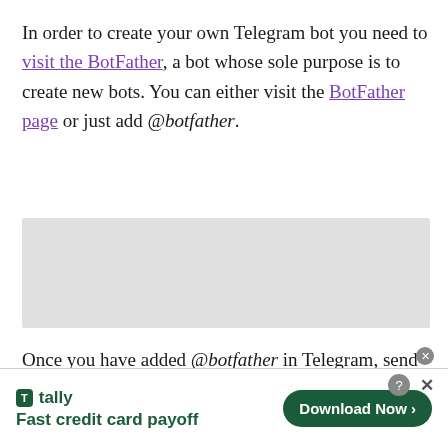In order to create your own Telegram bot you need to visit the BotFather, a bot whose sole purpose is to create new bots. You can either visit the BotFather page or just add @botfather.
[Figure (screenshot): Gray placeholder box representing an embedded image or screenshot]
Once you have added @botfather in Telegram, send the message /start and you will be presented with the available commands. Go ahead and send the message "/newbot" and follow the instructions
[Figure (other): Advertisement banner for Tally app: Fast credit card payoff, with Download Now button]